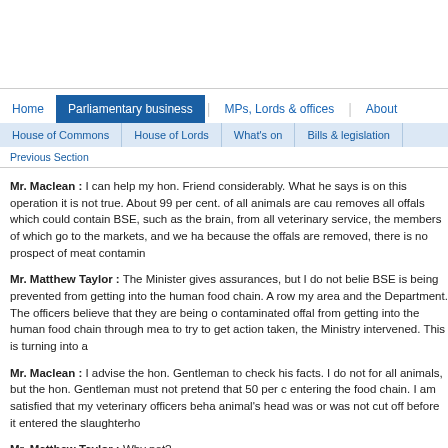Home | Parliamentary business | MPs, Lords & offices | About
House of Commons | House of Lords | What's on | Bills & legislation
Previous Section
Mr. Maclean : I can help my hon. Friend considerably. What he says is on this operation it is not true. About 99 per cent. of all animals are cau removes all offals which could contain BSE, such as the brain, from all veterinary service, the members of which go to the markets, and we ha because the offals are removed, there is no prospect of meat contamin
Mr. Matthew Taylor : The Minister gives assurances, but I do not belie BSE is being prevented from getting into the human food chain. A row my area and the Department. The officers believe that they are being o contaminated offal from getting into the human food chain through mea to try to get action taken, the Ministry intervened. This is turning into a
Mr. Maclean : I advise the hon. Gentleman to check his facts. I do not for all animals, but the hon. Gentleman must not pretend that 50 per c entering the food chain. I am satisfied that my veterinary officers beha animal's head was or was not cut off before it entered the slaughterho
Mr. Matthew Taylor : Why not?